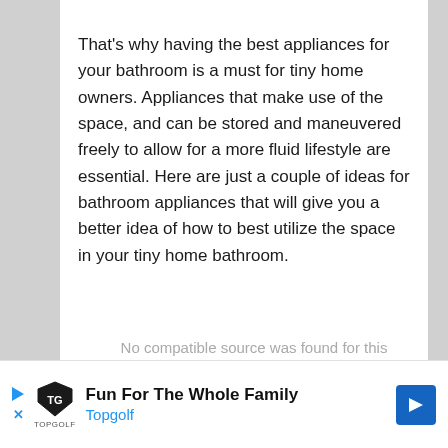That's why having the best appliances for your bathroom is a must for tiny home owners. Appliances that make use of the space, and can be stored and maneuvered freely to allow for a more fluid lifestyle are essential. Here are just a couple of ideas for bathroom appliances that will give you a better idea of how to best utilize the space in your tiny home bathroom.
[Figure (other): Advertisement banner for Topgolf: Fun For The Whole Family]